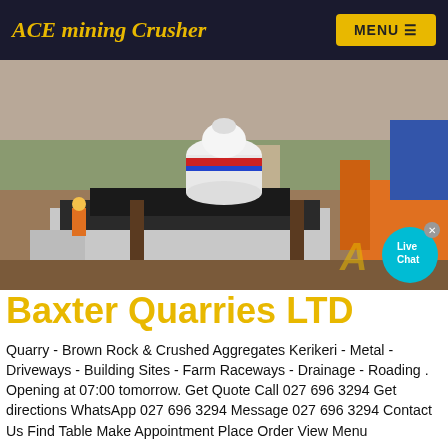ACE mining Crusher
[Figure (photo): Outdoor mining/quarry site with a large cone crusher machine (white with red and blue markings) on a concrete platform, workers in orange safety vests visible, excavator equipment in background, dirt road and trees in distance]
Baxter Quarries LTD
Quarry - Brown Rock & Crushed Aggregates Kerikeri - Metal - Driveways - Building Sites - Farm Raceways - Drainage - Roading . Opening at 07:00 tomorrow. Get Quote Call 027 696 3294 Get directions WhatsApp 027 696 3294 Message 027 696 3294 Contact Us Find Table Make Appointment Place Order View Menu